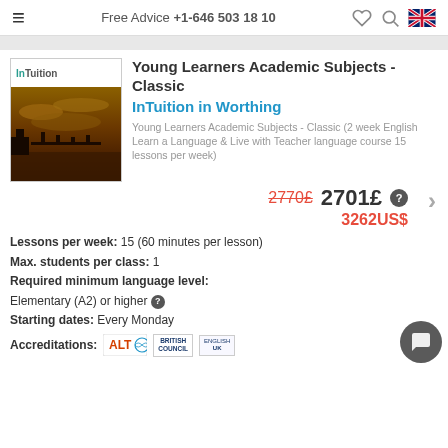Free Advice +1-646 503 18 10
Young Learners Academic Subjects - Classic
InTuition in Worthing
Young Learners Academic Subjects - Classic (2 week English Learn a Language & Live with Teacher language course 15 lessons per week)
2770£  2701£  3262US$
Lessons per week: 15 (60 minutes per lesson)
Max. students per class: 1
Required minimum language level: Elementary (A2) or higher
Starting dates: Every Monday
Accreditations: